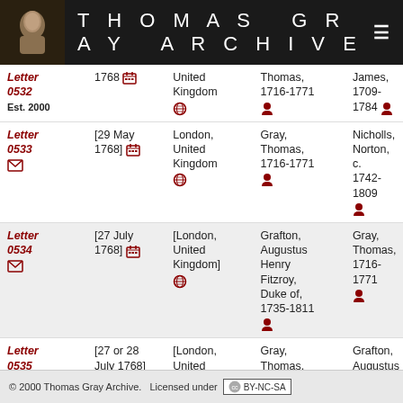Thomas Gray Archive
| Letter | Date | Place | Sender | Recipient |
| --- | --- | --- | --- | --- |
| Letter 0532 | 1768 | United Kingdom | Thomas, 1716-1771 | James, 1709-1784 |
| Letter 0533 | [29 May 1768] | London, United Kingdom | Gray, Thomas, 1716-1771 | Nicholls, Norton, c. 1742-1809 |
| Letter 0534 | [27 July 1768] | [London, United Kingdom] | Grafton, Augustus Henry Fitzroy, Duke of, 1735-1811 | Gray, Thomas, 1716-1771 |
| Letter 0535 | [27 or 28 July 1768] | [London, United Kingdom] | Gray, Thomas, 1716-1771 | Grafton, Augustus Henry Fitzroy, Duke of, |
© 2000 Thomas Gray Archive. Licensed under CC BY-NC-SA